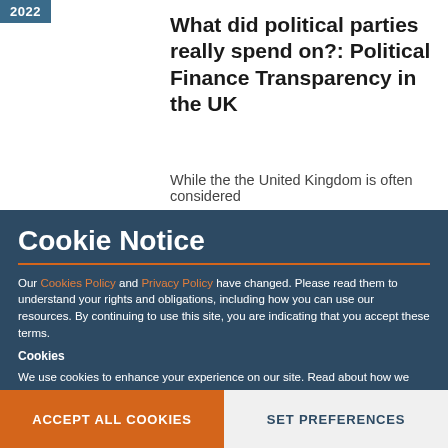2022
What did political parties really spend on?: Political Finance Transparency in the UK
While the the United Kingdom is often considered
Cookie Notice
Our Cookies Policy and Privacy Policy have changed. Please read them to understand your rights and obligations, including how you can use our resources. By continuing to use this site, you are indicating that you accept these terms.
Cookies
We use cookies to enhance your experience on our site. Read about how we use cookies and how you can control them here. By continuing to use this site, without changing your settings, you are indicating that you accept this policy.
ACCEPT ALL COOKIES
SET PREFERENCES